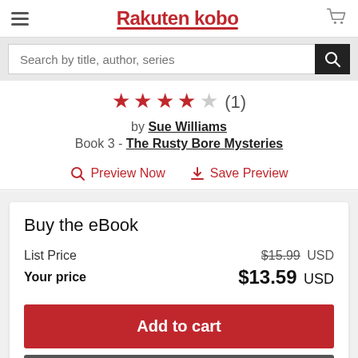Rakuten kobo
Search by title, author, series
[Figure (other): 4.5 star rating with 1 review]
by Sue Williams
Book 3 - The Rusty Bore Mysteries
Preview Now   Save Preview
Buy the eBook
| Label | Price | Currency |
| --- | --- | --- |
| List Price | $15.99 | USD |
| Your price | $13.59 | USD |
Add to cart
Buy Now